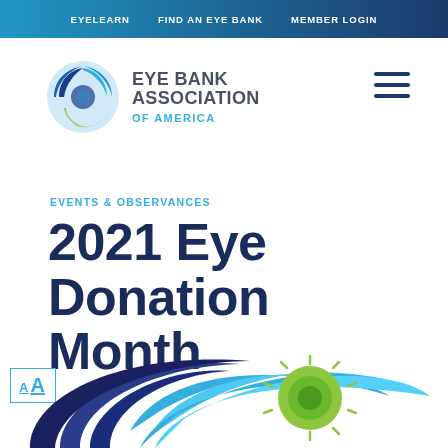EYELEARN   FIND AN EYE BANK   MEMBER LOGIN
[Figure (logo): Eye Bank Association of America logo with stylized blue-green eye graphic and text]
EVENTS & OBSERVANCES
2021 Eye Donation Month
[Figure (illustration): Stylized eye illustration with blue and green colors at bottom of page]